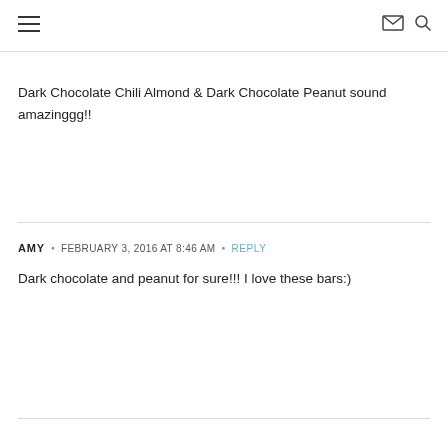navigation header with hamburger menu, email icon, and search icon
Dark Chocolate Chili Almond & Dark Chocolate Peanut sound amazinggg!!
AMY • FEBRUARY 3, 2016 AT 8:46 AM • REPLY
Dark chocolate and peanut for sure!!! I love these bars:)